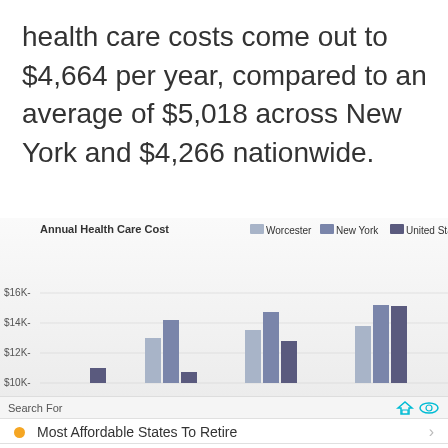health care costs come out to $4,664 per year, compared to an average of $5,018 across New York and $4,266 nationwide.
[Figure (grouped-bar-chart): Annual Health Care Cost]
Search For
Most Affordable States To Retire
Affordable Houses In Washington